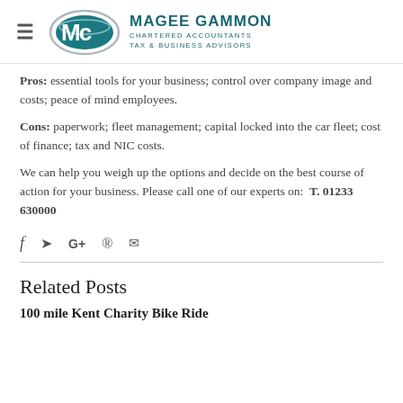Magee Gammon Chartered Accountants Tax & Business Advisors
Pros: essential tools for your business; control over company image and costs; peace of mind employees.
Cons: paperwork; fleet management; capital locked into the car fleet; cost of finance; tax and NIC costs.
We can help you weigh up the options and decide on the best course of action for your business. Please call one of our experts on: T. 01233 630000
[Figure (infographic): Social media sharing icons: Facebook, Twitter, Google+, Pinterest, Email]
Related Posts
100 mile Kent Charity Bike Ride